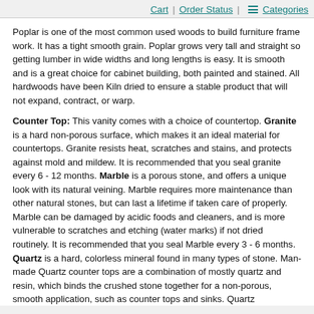Cart | Order Status | ≡ Categories
Poplar is one of the most common used woods to build furniture frame work. It has a tight smooth grain. Poplar grows very tall and straight so getting lumber in wide widths and long lengths is easy. It is smooth and is a great choice for cabinet building, both painted and stained. All hardwoods have been Kiln dried to ensure a stable product that will not expand, contract, or warp.
Counter Top: This vanity comes with a choice of countertop. Granite is a hard non-porous surface, which makes it an ideal material for countertops. Granite resists heat, scratches and stains, and protects against mold and mildew. It is recommended that you seal granite every 6 - 12 months. Marble is a porous stone, and offers a unique look with its natural veining. Marble requires more maintenance than other natural stones, but can last a lifetime if taken care of properly. Marble can be damaged by acidic foods and cleaners, and is more vulnerable to scratches and etching (water marks) if not dried routinely. It is recommended that you seal Marble every 3 - 6 months. Quartz is a hard, colorless mineral found in many types of stone. Man-made Quartz counter tops are a combination of mostly quartz and resin, which binds the crushed stone together for a non-porous, smooth application, such as counter tops and sinks. Quartz countertops are durable, resistant to stains and heat, and is an ideal material for bathroom vanities. Solid Surface countertops are a man-made product formed by combining natural stone and resins, and molded into a solid product, such as a counter top or sink. Solid surface is durable, easy to clean, and comes in many colors and shapes. Solid surface can scratch easily, but can be easily buffed out too.